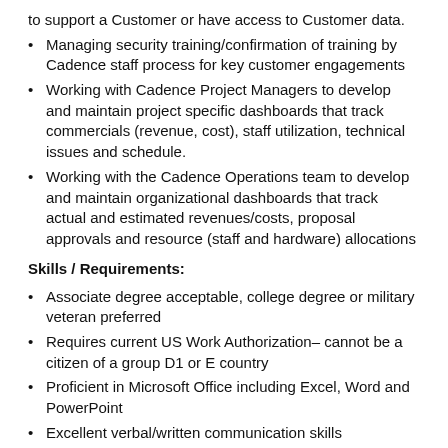to support a Customer or have access to Customer data.
Managing security training/confirmation of training by Cadence staff process for key customer engagements
Working with Cadence Project Managers to develop and maintain project specific dashboards that track commercials (revenue, cost), staff utilization, technical issues and schedule.
Working with the Cadence Operations team to develop and maintain organizational dashboards that track actual and estimated revenues/costs, proposal approvals and resource (staff and hardware) allocations
Skills / Requirements:
Associate degree acceptable, college degree or military veteran preferred
Requires current US Work Authorization– cannot be a citizen of a group D1 or E country
Proficient in Microsoft Office including Excel, Word and PowerPoint
Excellent verbal/written communication skills
Strong organizational and time management skills required
Requires an ability to work with teams, worldwide location/time zones and a sensitivity to work flow.